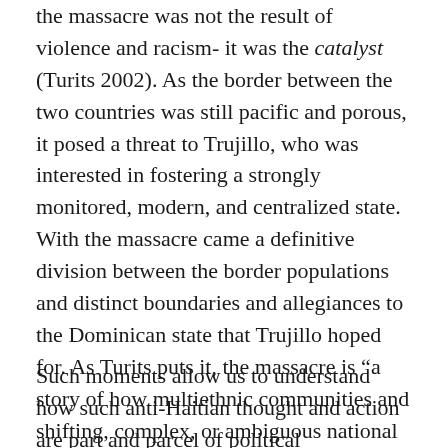the massacre was not the result of violence and racism- it was the catalyst (Turits 2002). As the border between the two countries was still pacific and porous, it posed a threat to Trujillo, who was interested in fostering a strongly monitored, modern, and centralized state. With the massacre came a definitive division between the border populations and distinct boundaries and allegiances to the Dominican state that Trujillo hoped for. As Turits puts it, the massacre is “a story of how multiethnic communities and shifting, complex, or ambiguous national identities come to be perceived a problem for the state.”
Such moments allow us to understand how such anti-Haitian thought and action are part and parcel of political manipulations and state-building